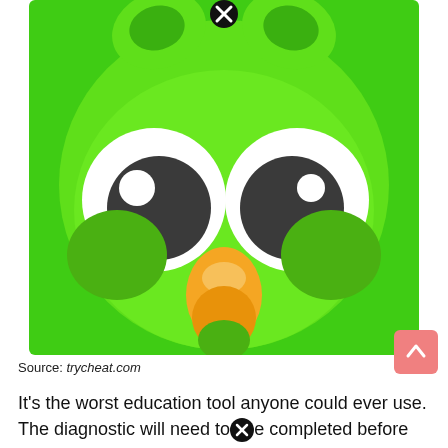[Figure (illustration): Close-up of the Duolingo owl mascot face — a cartoon green owl with large white eyes with dark pupils, an orange beak, and green feathers, on a bright green background. A close button (X in a black circle) appears at the top center of the image.]
Source: trycheat.com
It's the worst education tool anyone could ever use. The diagnostic will need to be completed before the